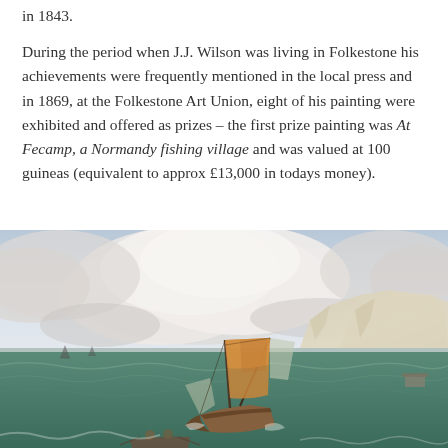in 1843.
During the period when J.J. Wilson was living in Folkestone his achievements were frequently mentioned in the local press and in 1869, at the Folkestone Art Union, eight of his painting were exhibited and offered as prizes – the first prize painting was At Fecamp, a Normandy fishing village and was valued at 100 guineas (equivalent to approx £13,000 in todays money).
[Figure (photo): A maritime oil painting showing sailing vessels on choppy seas near white chalk cliffs, with dramatic cloudy sky. A large wooden sailing ship is tilted by wind in the foreground, with smaller vessels visible. White cliffs rise in the background on the right side.]